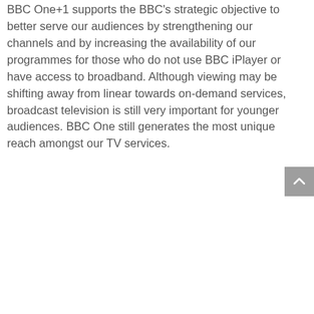BBC One+1 supports the BBC's strategic objective to better serve our audiences by strengthening our channels and by increasing the availability of our programmes for those who do not use BBC iPlayer or have access to broadband. Although viewing may be shifting away from linear towards on-demand services, broadcast television is still very important for younger audiences. BBC One still generates the most unique reach amongst our TV services.